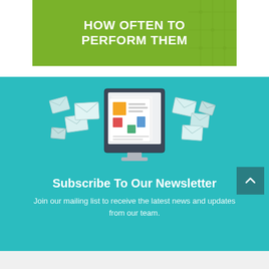[Figure (illustration): Green banner with circuit board background pattern showing white bold text 'HOW OFTEN TO PERFORM THEM']
[Figure (illustration): Teal/turquoise newsletter subscription section with a flat design illustration of a computer monitor displaying newspapers/documents, surrounded by flying envelope icons]
Subscribe To Our Newsletter
Join our mailing list to receive the latest news and updates from our team.